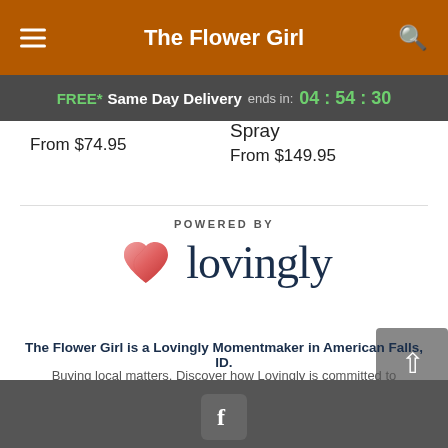The Flower Girl
FREE* Same Day Delivery ends in: 04 : 54 : 30
From $74.95
Spray
From $149.95
[Figure (logo): Lovingly logo with pink/red heart icon and wordmark text 'lovingly' in dark navy, with 'POWERED BY' text above]
The Flower Girl is a Lovingly Momentmaker in American Falls, ID.
Buying local matters. Discover how Lovingly is committed to strengthening relationships by helping local florists market, sell, and deliver their floral designs online.